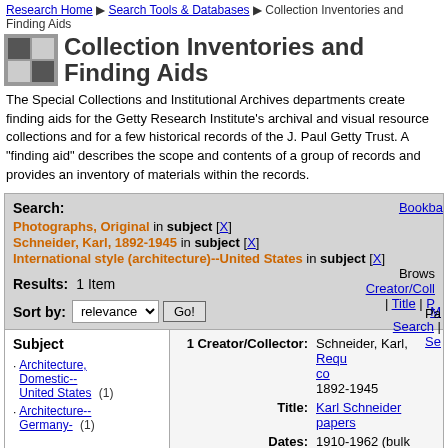Research Home > Search Tools & Databases > Collection Inventories and Finding Aids
Collection Inventories and Finding Aids
The Special Collections and Institutional Archives departments create finding aids for the Getty Research Institute's archival and visual resource collections and for a few historical records of the J. Paul Getty Trust. A "finding aid" describes the scope and contents of a group of records and provides an inventory of materials within the records.
Search: Photographs, Original in subject [X] Schneider, Karl, 1892-1945 in subject [X] International style (architecture)--United States in subject [X]
Results: 1 Item
Sort by: relevance Go!
Subject
Architecture, Domestic--United States (1)
Architecture--Germany- (1)
1 Creator/Collector: Schneider, Karl, 1892-1945
Title: Karl Schneider papers
Dates: 1910-1962 (bulk